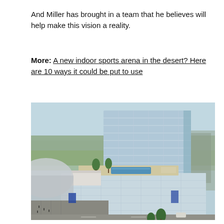And Miller has brought in a team that he believes will help make this vision a reality.
More: A new indoor sports arena in the desert? Here are 10 ways it could be put to use
[Figure (photo): Aerial rendering of a large modern glass high-rise hotel/arena complex with a rooftop pool and outdoor seating area, surrounded by parking lots and adjacent to a stadium dome structure, set in a desert landscape.]